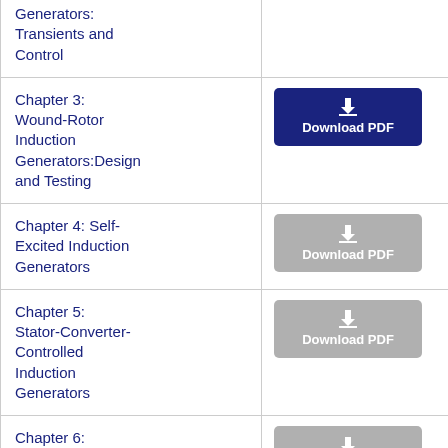| Chapter | Download |
| --- | --- |
| Generators: Transients and Control | Download PDF (active) |
| Chapter 3: Wound-Rotor Induction Generators:Design and Testing | Download PDF (active) |
| Chapter 4: Self-Excited Induction Generators | Download PDF (inactive) |
| Chapter 5: Stator-Converter-Controlled Induction Generators | Download PDF (inactive) |
| Chapter 6: Automotive Claw-... | Download PDF (inactive) |